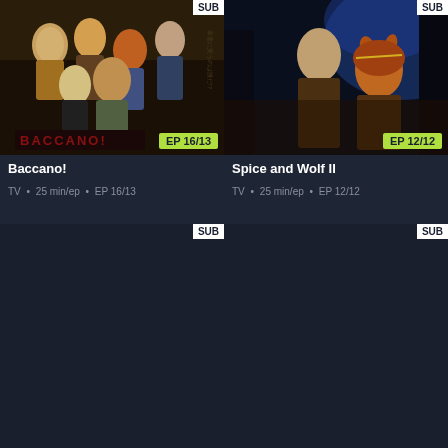[Figure (screenshot): Anime streaming interface showing two rows of show cards. Top row: Baccano! (EP 16/13, TV, 25 min/ep) and Spice and Wolf II (EP 12/12, TV, 25 min/ep). Bottom row: two partially visible cards with SUB badges.]
Baccano!
TV • 25 min/ep • EP 16/13
Spice and Wolf II
TV • 25 min/ep • EP 12/12